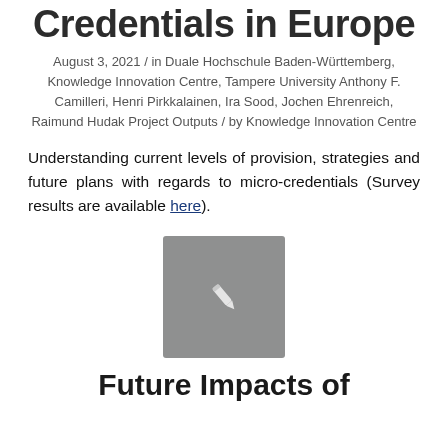Credentials in Europe
August 3, 2021 / in Duale Hochschule Baden-Württemberg, Knowledge Innovation Centre, Tampere University Anthony F. Camilleri, Henri Pirkkalainen, Ira Sood, Jochen Ehrenreich, Raimund Hudak Project Outputs / by Knowledge Innovation Centre
Understanding current levels of provision, strategies and future plans with regards to micro-credentials (Survey results are available here).
[Figure (illustration): Gray square placeholder image with a white pencil/edit icon in the center]
Future Impacts of